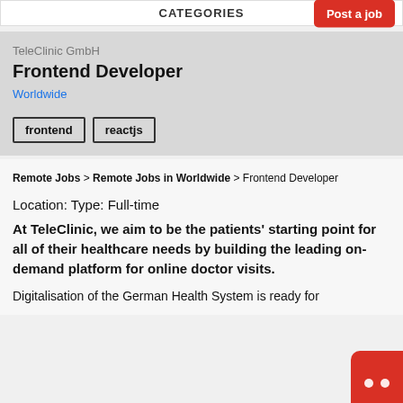CATEGORIES
Post a job
TeleClinic GmbH
Frontend Developer
Worldwide
frontend
reactjs
Remote Jobs > Remote Jobs in Worldwide > Frontend Developer
Location: Type: Full-time
At TeleClinic, we aim to be the patients' starting point for all of their healthcare needs by building the leading on-demand platform for online doctor visits.
Digitalisation of the German Health System is ready for